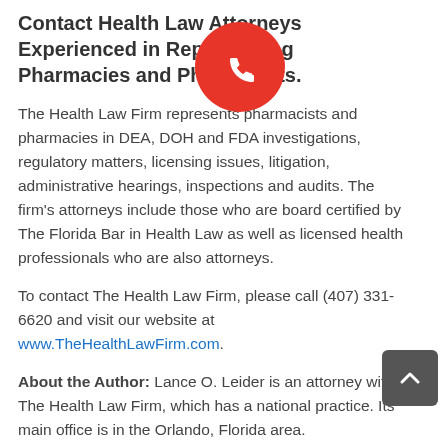Contact Health Law Attorneys Experienced in Representing Pharmacies and Pharmacists.
The Health Law Firm represents pharmacists and pharmacies in DEA, DOH and FDA investigations, regulatory matters, licensing issues, litigation, administrative hearings, inspections and audits. The firm's attorneys include those who are board certified by The Florida Bar in Health Law as well as licensed health professionals who are also attorneys.
To contact The Health Law Firm, please call (407) 331-6620 and visit our website at www.TheHealthLawFirm.com.
About the Author: Lance O. Leider is an attorney with The Health Law Firm, which has a national practice. Its main office is in the Orlando, Florida area. www.TheHealthLawFirm.com The Health Law Firm, 1101 Douglas Avenue, Altamonte Springs, Florida 32714.